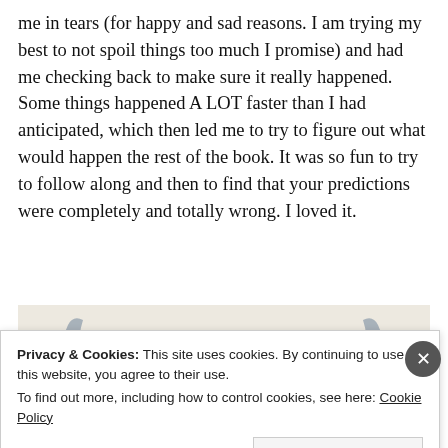me in tears (for happy and sad reasons. I am trying my best to not spoil things too much I promise) and had me checking back to make sure it really happened. Some things happened A LOT faster than I had anticipated, which then led me to try to figure out what would happen the rest of the book. It was so fun to try to follow along and then to find that your predictions were completely and totally wrong. I loved it.
[Figure (illustration): Book cover image with decorative antlers/horns and feathers. Script text reads 'Wild' with 'VOL 1' in the upper right corner. Light/muted color palette.]
Privacy & Cookies: This site uses cookies. By continuing to use this website, you agree to their use.
To find out more, including how to control cookies, see here: Cookie Policy